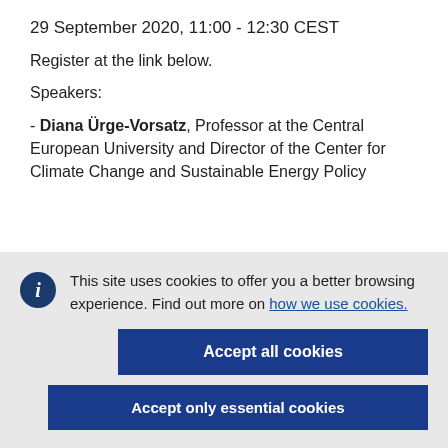29 September 2020, 11:00 - 12:30 CEST
Register at the link below.
Speakers:
- Diana Ürge-Vorsatz, Professor at the Central European University and Director of the Center for Climate Change and Sustainable Energy Policy
This site uses cookies to offer you a better browsing experience. Find out more on how we use cookies.
Accept all cookies
Accept only essential cookies